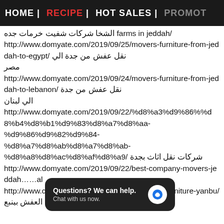HOME | RECIPE | HOT SALES | PROMOT
الشخا شركات شفيت خرمات جده farms in jeddah/ http://www.domyate.com/2019/09/25/movers-furniture-from-jeddah-to-egypt/ نقل عفش من جدة الي مصر http://www.domyate.com/2019/09/24/movers-furniture-from-jeddah-to-lebanon/ نقل عفش من جدة الي لبنان http://www.domyate.com/2019/09/22/%d8%a3%d9%86%%d8%b4%d8%b1%d9%83%d8%a7%d8%aa-%d9%86%d9%82%d9%84-%d8%a7%d8%ab%d8%a7%d8%ab-%d8%a8%d8%ac%d8%af%d8%a9/ شركات نقل اثاث بجدة http://www.domyate.com/2019/09/22/best-company-movers-jeddah ال http://www.domyate.com/ ompany-transfer-furniture-yanbu/ شركات نقل العفش بينبع